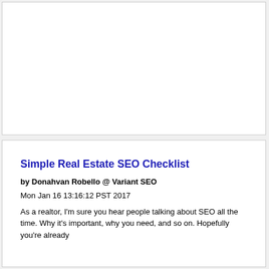[Figure (other): Empty white box placeholder area at the top of the page]
Simple Real Estate SEO Checklist
by Donahvan Robello @ Variant SEO
Mon Jan 16 13:16:12 PST 2017
As a realtor, I'm sure you hear people talking about SEO all the time. Why it's important, why you need, and so on. Hopefully you're already